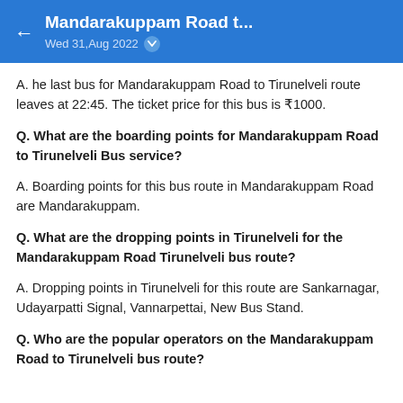Mandarakuppam Road t... Wed 31,Aug 2022
A. he last bus for Mandarakuppam Road to Tirunelveli route leaves at 22:45. The ticket price for this bus is ₹1000.
Q. What are the boarding points for Mandarakuppam Road to Tirunelveli Bus service?
A. Boarding points for this bus route in Mandarakuppam Road are Mandarakuppam.
Q. What are the dropping points in Tirunelveli for the Mandarakuppam Road Tirunelveli bus route?
A. Dropping points in Tirunelveli for this route are Sankarnagar, Udayarpatti Signal, Vannarpettai, New Bus Stand.
Q. Who are the popular operators on the Mandarakuppam Road to Tirunelveli bus route?